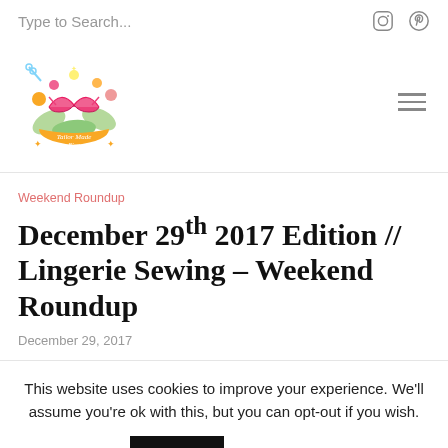Type to Search...
[Figure (logo): Tailor Made Blog logo — illustrated bra with colorful floral decoration and a banner reading 'Tailor Made Blog']
Weekend Roundup
December 29th 2017 Edition // Lingerie Sewing – Weekend Roundup
December 29, 2017
This website uses cookies to improve your experience. We'll assume you're ok with this, but you can opt-out if you wish.
Accept   Read More